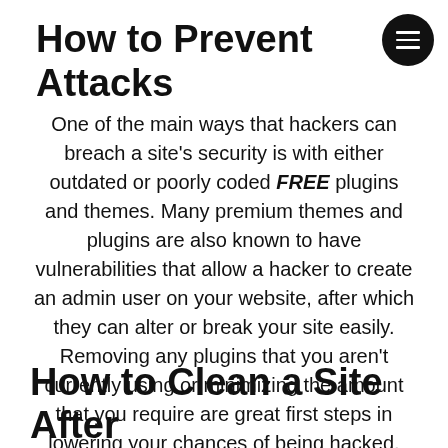How to Prevent Attacks
One of the main ways that hackers can breach a site's security is with either outdated or poorly coded FREE plugins and themes. Many premium themes and plugins are also known to have vulnerabilities that allow a hacker to create an admin user on your website, after which they can alter or break your site easily. Removing any plugins that you aren't currently using or minimizing the amount that you require are great first steps in lowering your chances of being hacked.
How to Clean a Site After